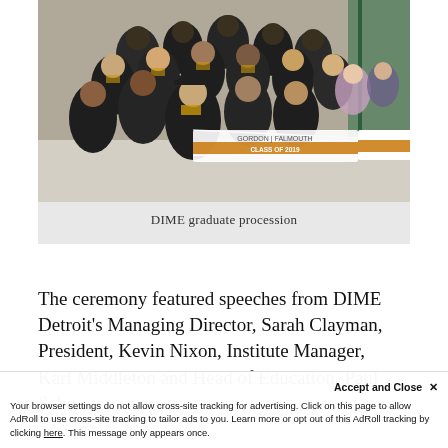[Figure (photo): Group photo of DIME graduates in black graduation gowns and caps with gold trim, holding a banner that reads 'DIME Detroit Class of 2018', taken from slightly above angle on a street/plaza.]
DIME graduate procession
The ceremony featured speeches from DIME Detroit's Managing Director, Sarah Clayman, President, Kevin Nixon, Institute Manager, Karl Middleton and Head of Education, Paul Scho...
Your browser settings do not allow cross-site tracking for advertising. Click on this page to allow AdRoll to use cross-site tracking to tailor ads to you. Learn more or opt out of this AdRoll tracking by clicking here. This message only appears once.